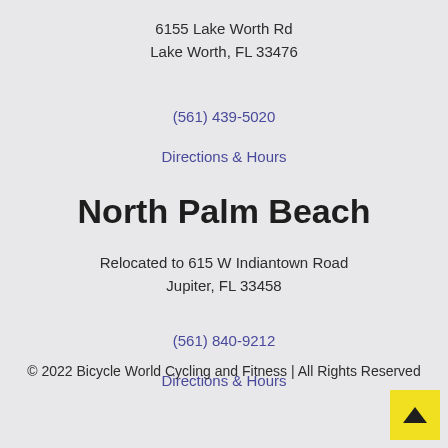6155 Lake Worth Rd
Lake Worth, FL 33476
(561) 439-5020
Directions & Hours
North Palm Beach
Relocated to 615 W Indiantown Road
Jupiter, FL 33458
(561) 840-9212
Directions & Hours
© 2022 Bicycle World Cycling and Fitness | All Rights Reserved